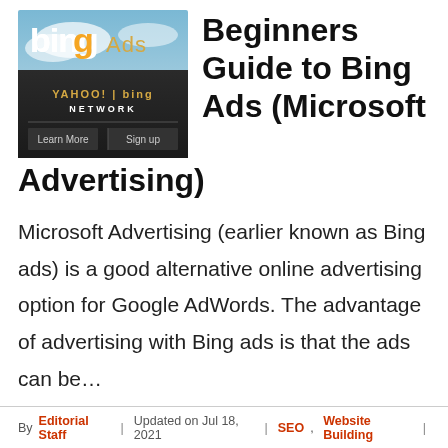[Figure (logo): Bing Ads logo with Yahoo! | Bing Network text and Learn More / Sign up buttons]
Beginners Guide to Bing Ads (Microsoft Advertising)
Microsoft Advertising (earlier known as Bing ads) is a good alternative online advertising option for Google AdWords. The advantage of advertising with Bing ads is that the ads can be…
By Editorial Staff | Updated on Jul 18, 2021 | SEO, Website Building |